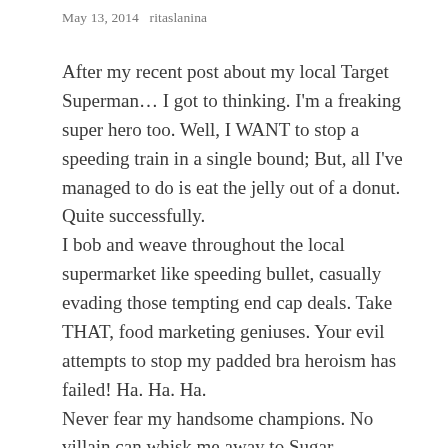May 13, 2014   ritaslanina
After my recent post about my local Target Superman… I got to thinking. I'm a freaking super hero too. Well, I WANT to stop a speeding train in a single bound; But, all I've managed to do is eat the jelly out of a donut. Quite successfully.
I bob and weave throughout the local supermarket like speeding bullet, casually evading those tempting end cap deals. Take THAT, food marketing geniuses. Your evil attempts to stop my padded bra heroism has failed! Ha. Ha. Ha.
Never fear my handsome champions. No villain can whisk me away to Sugar Metropolis and load me up with mountains of cotton candy to win my affection BonBon King. Well, maybe. My padded bra -made of lollipops- awaits you, kind sir. I'm pretty